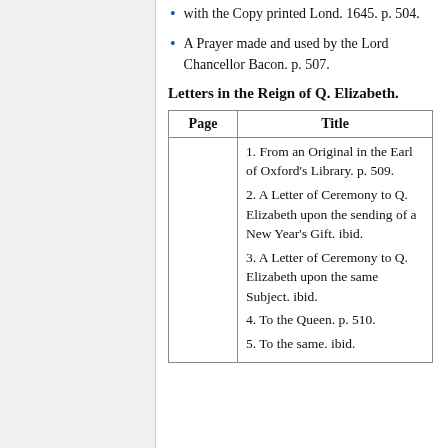with the Copy printed Lond. 1645. p. 504.
A Prayer made and used by the Lord Chancellor Bacon. p. 507.
Letters in the Reign of Q. Elizabeth.
| Page | Title |
| --- | --- |
|  | 1. From an Original in the Earl of Oxford's Library. p. 509.
2. A Letter of Ceremony to Q. Elizabeth upon the sending of a New Year's Gift. ibid.
3. A Letter of Ceremony to Q. Elizabeth upon the same Subject. ibid.
4. To the Queen. p. 510.
5. To the same. ibid. |